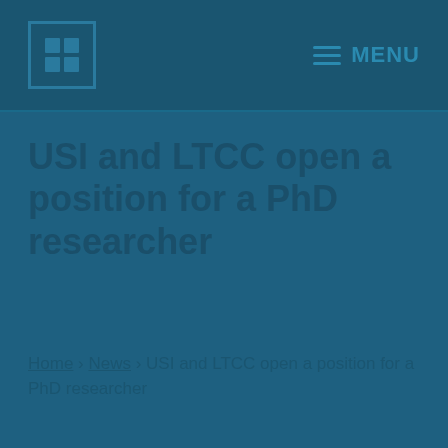LTCC logo and MENU navigation
USI and LTCC open a position for a PhD researcher
Home › News › USI and LTCC open a position for a PhD researcher
[Figure (photo): A person in a suit looking sideways, photo overlapping with the page background, tinted in dark teal/blue tones]